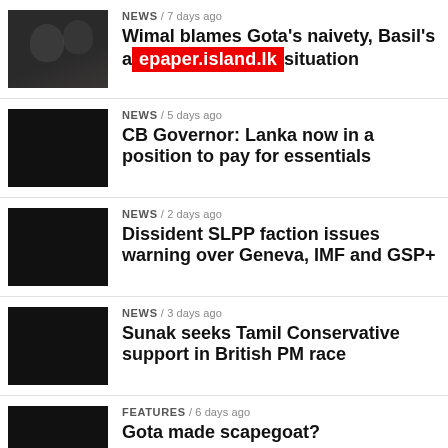NEWS / 7 days ago — Wimal blames Gota's naivety, Basil's a[epaper.island.lk]situation
NEWS / 5 days ago — CB Governor: Lanka now in a position to pay for essentials
NEWS / 2 days ago — Dissident SLPP faction issues warning over Geneva, IMF and GSP+
NEWS / 3 days ago — Sunak seeks Tamil Conservative support in British PM race
FEATURES / 6 days ago — Gota made scapegoat?